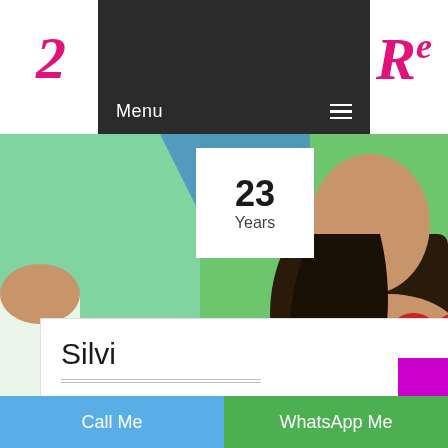[Figure (screenshot): Website navigation bar with dark background showing 'Menu' text and hamburger icon, with pink cursive logo letters visible on sides]
[Figure (photo): Photo strip showing woman with dark hair and white flower, green background, red heart shape on right, white card overlay showing '23 Years']
23
Years
Silvi
Air Hostess / Elite Escort / Available on Weekends only
Palakkad Escorts Services
Call Me
WhatsApp Me